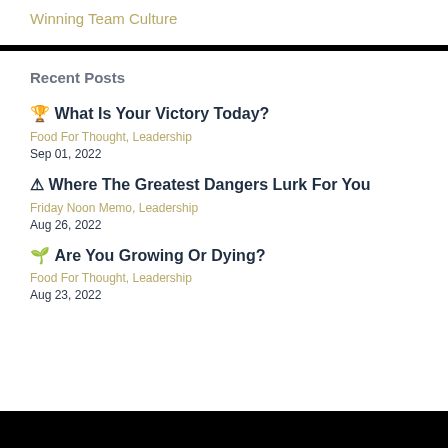Winning Team Culture
Recent Posts
🏆 What Is Your Victory Today?
Food For Thought, Leadership
Sep 01, 2022
⚠ Where The Greatest Dangers Lurk For You
Friday Noon Memo, Leadership
Aug 26, 2022
🌱 Are You Growing Or Dying?
Food For Thought, Leadership
Aug 23, 2022